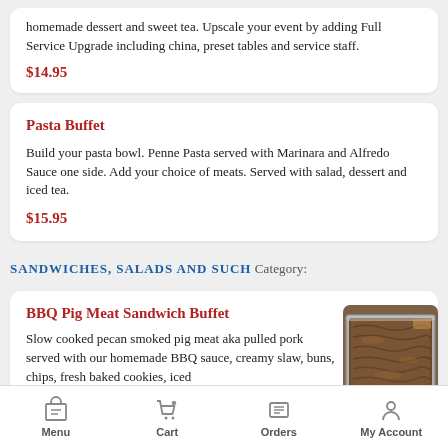homemade dessert and sweet tea. Upscale your event by adding Full Service Upgrade including china, preset tables and service staff.
$14.95
Pasta Buffet
Build your pasta bowl. Penne Pasta served with Marinara and Alfredo Sauce one side. Add your choice of meats. Served with salad, dessert and iced tea.
$15.95
SANDWICHES, SALADS AND SUCH Category:
BBQ Pig Meat Sandwich Buffet
Slow cooked pecan smoked pig meat aka pulled pork served with our homemade BBQ sauce, creamy slaw, buns, chips, fresh baked cookies, iced
[Figure (photo): Photo of BBQ pulled pork in a metal tray]
Menu  Cart  Orders  My Account